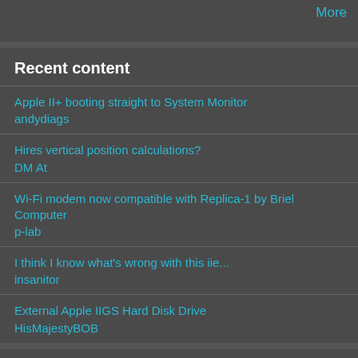More
Recent content
Apple II+ booting straight to System Monitor
andydiags
Hires vertical position calculations?
DM At
Wi-Fi modem now compatible with Replica-1 by Briel Computer
p-lab
I think I know what's wrong with this iie...
insanitor
External Apple IIGS Hard Disk Drive
HisMajestyBOB
Navigation
Blogs